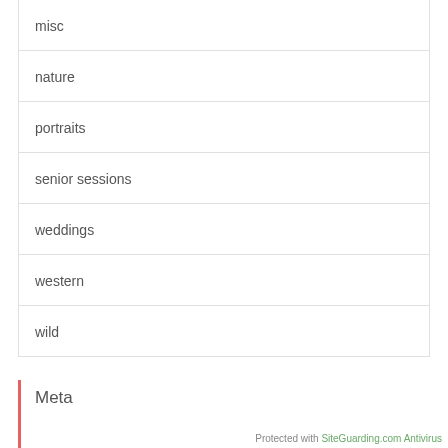misc
nature
portraits
senior sessions
weddings
western
wild
Meta
Protected with SiteGuarding.com Antivirus